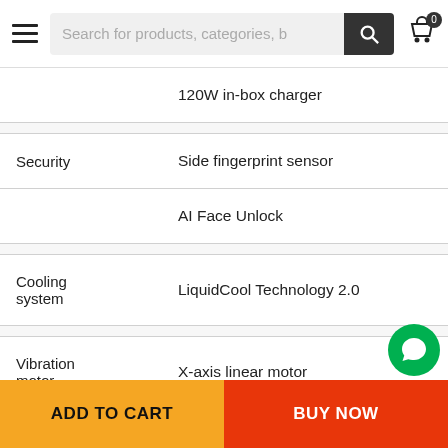Search for products, categories, b
|  |  |
| --- | --- |
|  | 120W in-box charger |
|  |  |
| Security | Side fingerprint sensor |
|  | AI Face Unlock |
|  |  |
| Cooling system | LiquidCool Technology 2.0 |
|  |  |
| Vibration motor | X-axis linear motor |
|  |  |
| Navigation |  |
ADD TO CART   BUY NOW